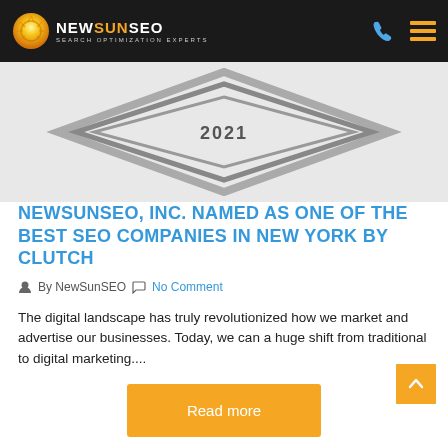NewSunSEO – Search Optimization Experts
[Figure (illustration): Partial view of a diamond/shield award badge graphic with '2021' text on a light gray background]
NEWSUNSEO, INC. NAMED AS ONE OF THE BEST SEO COMPANIES IN NEW YORK BY CLUTCH
By NewSunSEO  No Comment
The digital landscape has truly revolutionized how we market and advertise our businesses. Today, we can a huge shift from traditional to digital marketing....
Read more